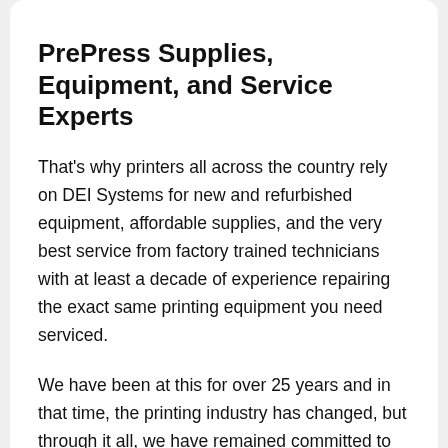PrePress Supplies, Equipment, and Service Experts
That's why printers all across the country rely on DEI Systems for new and refurbished equipment, affordable supplies, and the very best service from factory trained technicians with at least a decade of experience repairing the exact same printing equipment you need serviced.
We have been at this for over 25 years and in that time, the printing industry has changed, but through it all, we have remained committed to our customers prepress equipment, supplies, and service needs – and we have consistently exceeded their